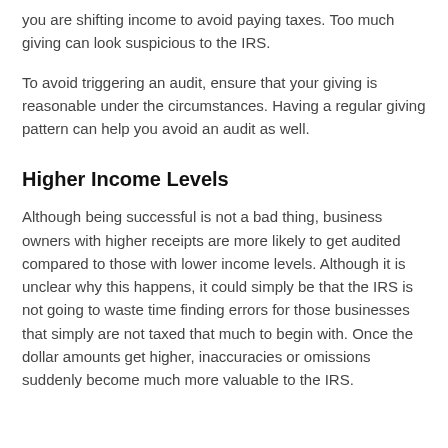you are shifting income to avoid paying taxes. Too much giving can look suspicious to the IRS.
To avoid triggering an audit, ensure that your giving is reasonable under the circumstances. Having a regular giving pattern can help you avoid an audit as well.
Higher Income Levels
Although being successful is not a bad thing, business owners with higher receipts are more likely to get audited compared to those with lower income levels. Although it is unclear why this happens, it could simply be that the IRS is not going to waste time finding errors for those businesses that simply are not taxed that much to begin with. Once the dollar amounts get higher, inaccuracies or omissions suddenly become much more valuable to the IRS.